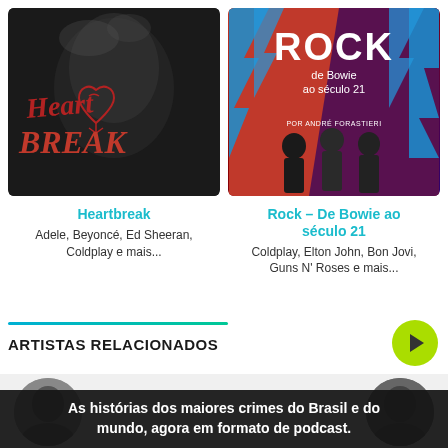[Figure (illustration): Heartbreak album/playlist cover — black and white photo of a woman with illustrated anatomical heart and stylized 'Heartbreak' text in red]
[Figure (illustration): Rock - De Bowie ao século 21 playlist cover — red and blue background with lightning bolts, white ROCK text, 'de Bowie ao século 21' subtitle, three musicians silhouette, 'POR ANDRÉ FORASTIERI' credit]
Heartbreak
Adele, Beyoncé, Ed Sheeran, Coldplay e mais...
Rock – De Bowie ao século 21
Coldplay, Elton John, Bon Jovi, Guns N' Roses e mais...
ARTISTAS RELACIONADOS
[Figure (photo): Circular avatar photo of an artist (left), partially visible]
[Figure (photo): Circular avatar photo of an artist (right), partially visible]
As histórias dos maiores crimes do Brasil e do mundo, agora em formato de podcast.